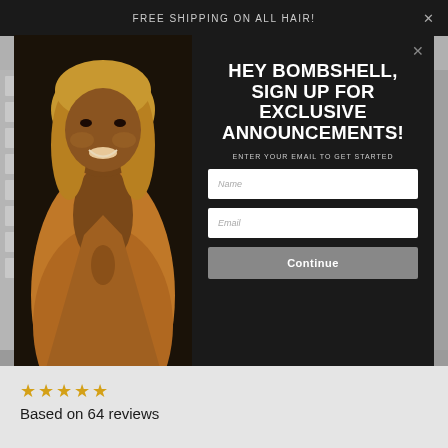FREE SHIPPING ON ALL HAIR!
BOMB DOT COM HAIR
[Figure (screenshot): Email signup modal popup on a hair e-commerce website. Left side shows a photo of a smiling Black woman with blonde hair wearing an orange blazer against a dark background. Right side has dark background with white bold uppercase text: 'HEY BOMBSHELL, SIGN UP FOR EXCLUSIVE ANNOUNCEMENTS!' followed by subtext 'ENTER YOUR EMAIL TO GET STARTED', a Name input field, an Email input field, and a gray Continue button. A close X button is in the top right of the modal.]
Based on 64 reviews